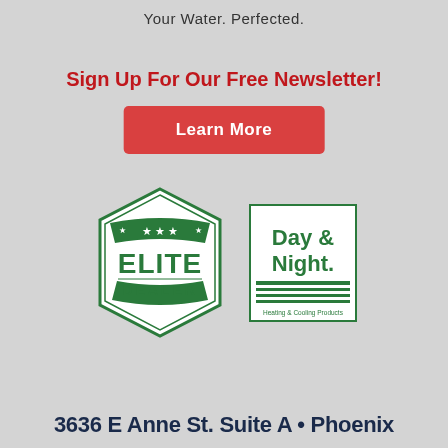Your Water. Perfected.
Sign Up For Our Free Newsletter!
Learn More
[Figure (logo): Elite Dealer badge logo - green hexagonal badge with stars and text ELITE DEALER]
[Figure (logo): Day & Night Heating & Cooling Products logo - white rectangle with green text and horizontal lines]
3636 E Anne St. Suite A • Phoenix